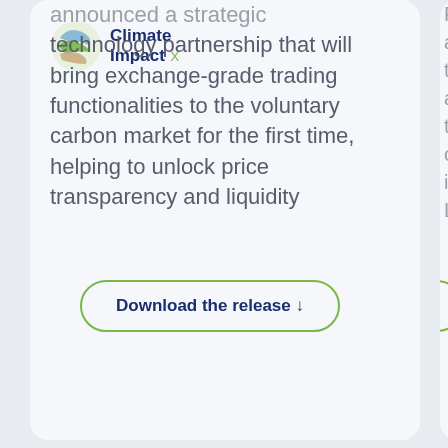[Figure (logo): Climate Impact X logo — circular icon with green, blue, and tan wave shapes, beside bold text 'Climate Impact' with a green X]
announced a strategic technology partnership that will bring exchange-grade trading functionalities to the voluntary carbon market for the first time, helping to unlock price transparency and liquidity
Download the release ↓
Menu
Power auctio through aucti to 60 credi in Ken Leone
Do